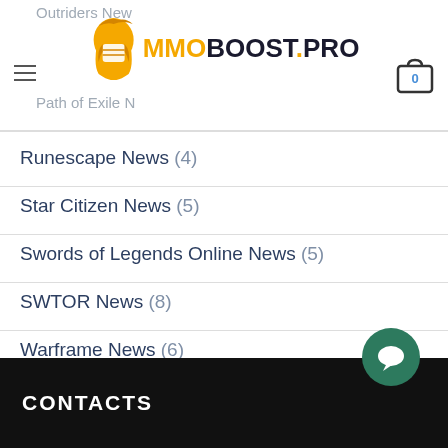MMOBOOST.PRO — navigation header with logo and cart icon
Runescape News (4)
Star Citizen News (5)
Swords of Legends Online News (5)
SWTOR News (8)
Warframe News (6)
World of Warcraft News (90)
CONTACTS